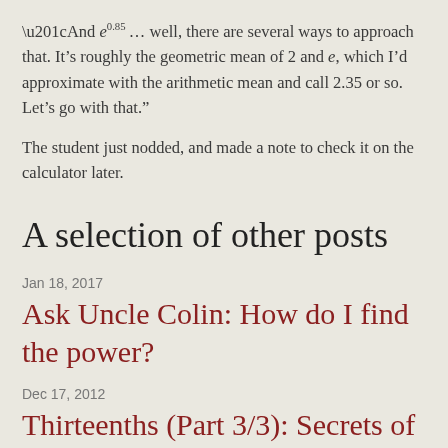“And e^0.85… well, there are several ways to approach that. It’s roughly the geometric mean of 2 and e, which I’d approximate with the arithmetic mean and call 2.35 or so. Let’s go with that.”
The student just nodded, and made a note to check it on the calculator later.
A selection of other posts
Jan 18, 2017
Ask Uncle Colin: How do I find the power?
Dec 17, 2012
Thirteenths (Part 3/3): Secrets of the Mathematical Ninja